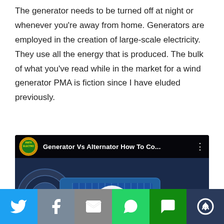The generator needs to be turned off at night or whenever you're away from home. Generators are employed in the creation of large-scale electricity. They use all the energy that is produced. The bulk of what you've read while in the market for a wind generator PMA is fiction since I have eluded previously.
[Figure (screenshot): YouTube video thumbnail showing 'Generator Vs Alternator How To Co...' with channel logo 'ANITA ELECTRO' and large yellow bold italic text 'Induction Motor Convert' over a dark blue background with a blue electric motor, and a YouTube play button overlay at the bottom.]
[Figure (infographic): Social sharing bar with six buttons: Twitter (light blue), Facebook (gray-blue), Email (gray), WhatsApp (green), SMS (dark green), and a share/rotate icon (dark gray-blue).]